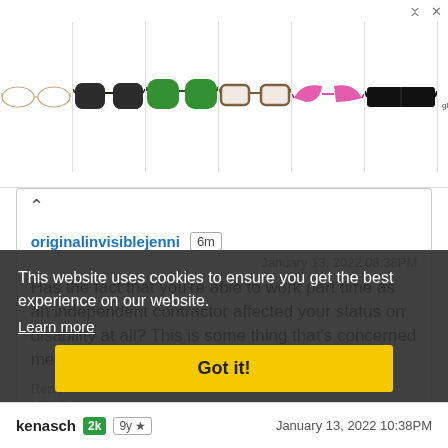[Figure (screenshot): Ad banner showing six pairs of glasses/sunglasses in a horizontal row with a glasses.etc logo and close/play icons in top right]
originalinvisiblejenni 6m
January 13, 2022 08:38PM
Has the fact that you're able to work part time as an independent contractor affected your status on disability at all? This is some thing that's concerned me since I started back up.
Reply
Like This
This website uses cookies to ensure you get the best experience on our website.
Learn more
Got it!
kenasch 2k 9y ★
January 13, 2022 10:38PM